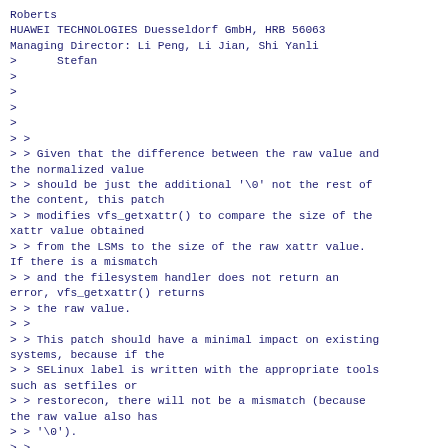Roberts
HUAWEI TECHNOLOGIES Duesseldorf GmbH, HRB 56063
Managing Director: Li Peng, Li Jian, Shi Yanli
>      Stefan
>
>
>
>
> >
> > Given that the difference between the raw value and the normalized value
> > should be just the additional '\0' not the rest of the content, this patch
> > modifies vfs_getxattr() to compare the size of the xattr value obtained
> > from the LSMs to the size of the raw xattr value. If there is a mismatch
> > and the filesystem handler does not return an error, vfs_getxattr() returns
> > the raw value.
> >
> > This patch should have a minimal impact on existing systems, because if the
> > SELinux label is written with the appropriate tools such as setfiles or
> > restorecon, there will not be a mismatch (because the raw value also has
> > '\0').
> >